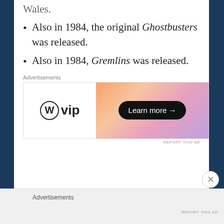Also in 1984, the original Ghostbusters was released.
Also in 1984, Gremlins was released.
[Figure (other): WordPress VIP advertisement banner with gradient orange-pink background and 'Learn more' button]
In 1992, the first World Oceans Day was celebrated. It coincided with the Earth Summit held in Rio de Janeiro, Brazil.
Advertisements